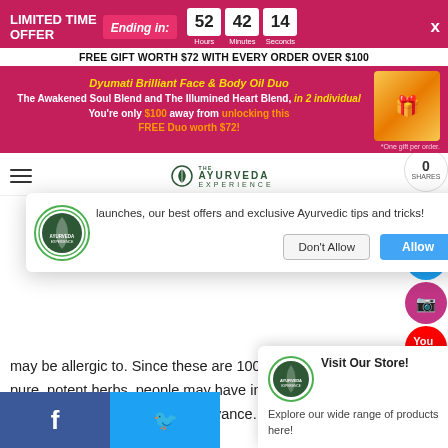[Figure (screenshot): Limited time offer banner with countdown timer showing 52 hours, 42 minutes, 14 seconds, on magenta/pink background. Free gift offer text and product image.]
LIMITED TIME OFFER
Ending in:
52 Hours 42 Minutes 14 Seconds
FREE GIFT WORTH $72 WITH EVERY ORDER OVER $100
Dyumati Brilliant Face & Body Oil Duo The Awakened Soul Blend and The Illumined Heart Blend, in 2 individual You're only $100 away from unlocking this FREE Duo worth $72!
*One gift per order.
[Figure (logo): The Ayurveda Experience logo in navigation bar]
launches, our best offers and exclusive Ayurvedic tips and tricks!
Don't Allow
Allow
may be allergic to. Since these are 100% natural produ with pure, potent herbs, people may have individual allergies which cannot be predicted in advance. Plea always co
[Figure (infographic): Visit Our Store popup with Ayurveda Experience logo, title 'Visit Our Store!' and text 'Explore our wide range of products here!']
Visit Our Store!
Explore our wide range of products here!